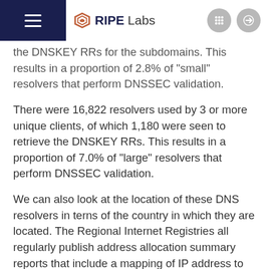RIPE Labs
the DNSKEY RRs for the subdomains. This results in a proportion of 2.8% of "small" resolvers that perform DNSSEC validation.
There were 16,822 resolvers used by 3 or more unique clients, of which 1,180 were seen to retrieve the DNSKEY RRs. This results in a proportion of 7.0% of "large" resolvers that perform DNSSEC validation.
We can also look at the location of these DNS resolvers in terns of the country in which they are located. The Regional Internet Registries all regularly publish address allocation summary reports that include a mapping of IP address to country. This allows us to map the IP